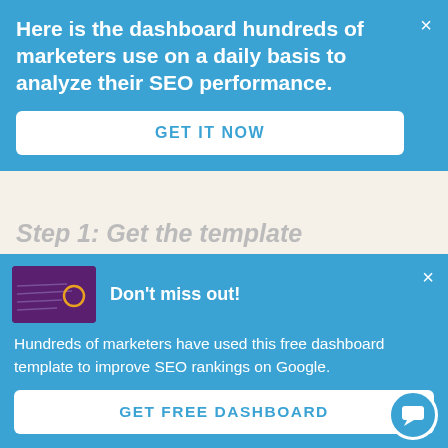Here is the dashboard hundreds of marketers use on a daily basis to analyze their SEO performance.
GET IT NOW
Step 2: Connect your Google Search Console account with
[Figure (screenshot): Small dashboard thumbnail image with purple background and orange circle]
Don't miss out!
Hundreds of marketers have used this free dashboard template to improve SEO rankings on Google.
GET FREE DASHBOARD